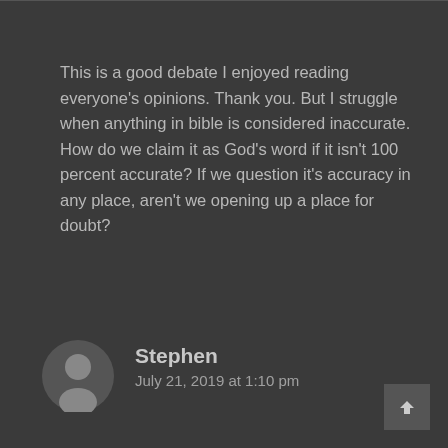This is a good debate I enjoyed reading everyone's opinions. Thank you. But I struggle when anything in bible is considered inaccurate. How do we claim it as God's word if it isn't 100 percent accurate? If we question it's accuracy in any place, aren't we opening up a place for doubt?
Reply
Stephen
July 21, 2019 at 1:10 pm